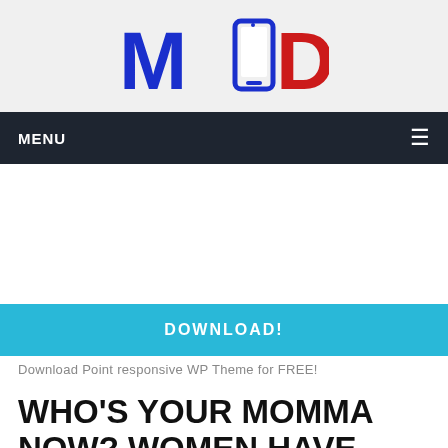[Figure (logo): MOD logo with stylized smartphone icon between M and D letters. M is blue, smartphone icon is blue/white, D is red.]
MENU
[Figure (other): Advertisement area (blank white space)]
DOWNLOAD!
Download Point responsive WP Theme for FREE!
WHO'S YOUR MOMMA NOW? WOMEN HAVE SUCCESSFULLY